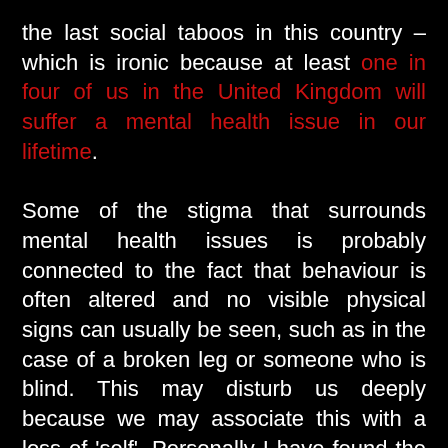the last social taboos in this country – which is ironic because at least one in four of us in the United Kingdom will suffer a mental health issue in our lifetime. Some of the stigma that surrounds mental health issues is probably connected to the fact that behaviour is often altered and no visible physical signs can usually be seen, such as in the case of a broken leg or someone who is blind. This may disturb us deeply because we may associate this with a loss of 'self'. Personally I have found the slow disintegration of Hal's mind, the computer in